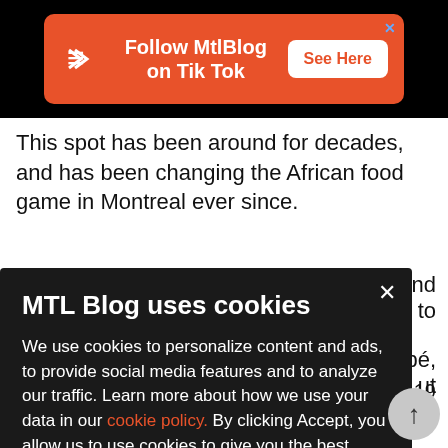[Figure (screenshot): Orange ad banner with MTL Blog logo and TikTok follow call-to-action, with See Here button]
This spot has been around for decades, and has been changing the African food game in Montreal ever since.
MTL Blog uses cookies

We use cookies to personalize content and ads, to provide social media features and to analyze our traffic. Learn more about how we use your data in our cookie policy. By clicking Accept, you allow us to use cookies to give you the best experience on site.
Accept